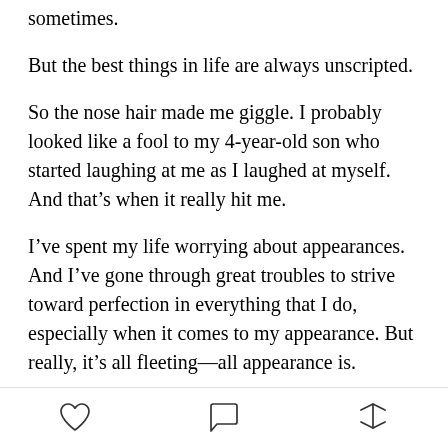sometimes.
But the best things in life are always unscripted.
So the nose hair made me giggle. I probably looked like a fool to my 4-year-old son who started laughing at me as I laughed at myself. And that's when it really hit me.
I've spent my life worrying about appearances. And I've gone through great troubles to strive toward perfection in everything that I do, especially when it comes to my appearance. But really, it's all fleeting—all appearance is.
The truth is, those with an innocent heart (like my son) don't see us for our appearance; they see us for who we really are, for how we make them feel, and for the
[Figure (other): Bottom toolbar with heart (like), comment bubble, and share icons]